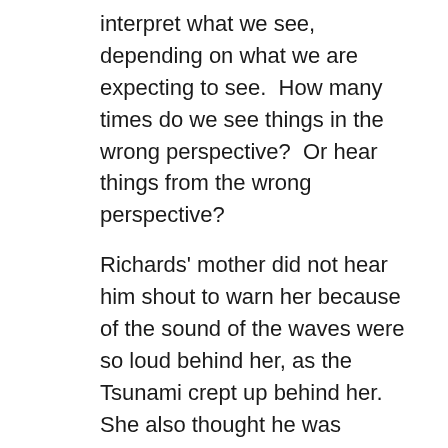interpret what we see, depending on what we are expecting to see.  How many times do we see things in the wrong perspective?  Or hear things from the wrong perspective?
Richards' mother did not hear him shout to warn her because of the sound of the waves were so loud behind her, as the Tsunami crept up behind her.  She also thought he was waving at her not calling her in from the sea.  Making him misunderstand what he could see and hear at the time of his mother's death was different from what his mother would have seen and heard.  Signifying that the different people and